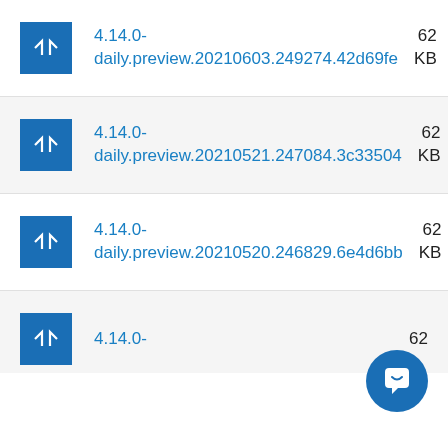4.14.0-daily.preview.20210603.249274.42d69fe  62... KB
4.14.0-daily.preview.20210521.247084.3c33504  62... KB
4.14.0-daily.preview.20210520.246829.6e4d6bb  62... KB
4.14.0-  62...